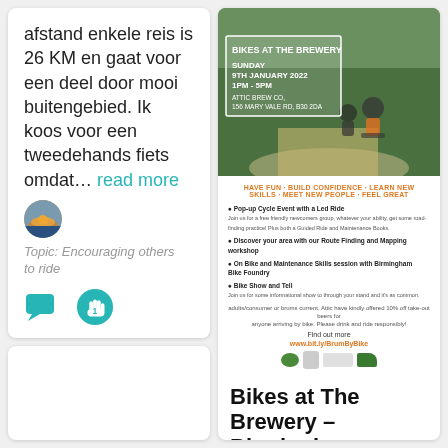afstand enkele reis is 26 KM en gaat voor een deel door mooi buitengebied. Ik koos voor een tweedehands fiets omdat... read more
Topic: Encouraging others to ride
[Figure (illustration): Teal chat bubble icon and teal hand/raise icon with number 1]
[Figure (photo): Flyer for Bikes at The Brewery event: photo of cyclists on a path, event details for Sunday 9th January 2022 1PM-5PM at Attic Brew Co., 156 Mary Vale Rd, B302DA. Tagline: Have fun, build confidence, learn new skills, meet new people, feel great. Bullet points about pop-up cycle event, route finding and mapping workshop, bike and maintenance skills session, bike show and tell. Logos at bottom. URL: www.bit.ly/BrumByBike]
Bikes at The Brewery – Birmingham
Birmingham - SAVE